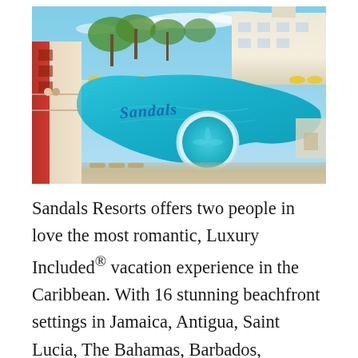[Figure (photo): Aerial view of a Sandals Resort featuring a large turquoise swimming pool with cursive Sandals logo written in blue on the pool floor, a circular hot tub, white colonial-style resort buildings, palm trees, and outdoor deck areas under a blue sky.]
Sandals Resorts offers two people in love the most romantic, Luxury Included® vacation experience in the Caribbean. With 16 stunning beachfront settings in Jamaica, Antigua, Saint Lucia, The Bahamas, Barbados, Grenada, and now Curacao, Sandals Resorts offers more quality inclusions than any other resort company on the planet. Signature Love Nest Butler Suites® for the